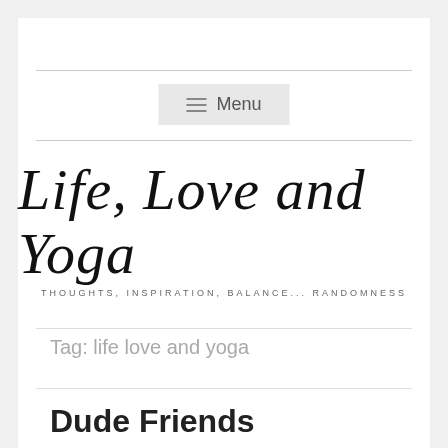Menu
[Figure (logo): Life, Love and Yoga — THOUGHTS, INSPIRATION, BALANCE... RANDOMNESS]
Tag: life love and yoga
Dude Friends